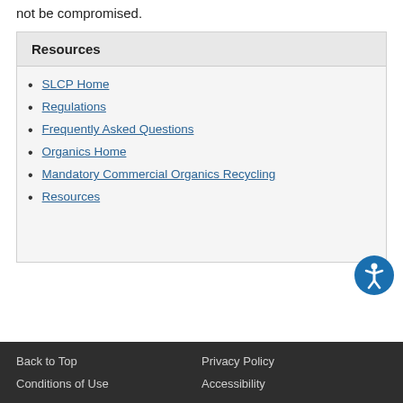not be compromised.
Resources
SLCP Home
Regulations
Frequently Asked Questions
Organics Home
Mandatory Commercial Organics Recycling
Resources
Back to Top   Privacy Policy   Conditions of Use   Accessibility